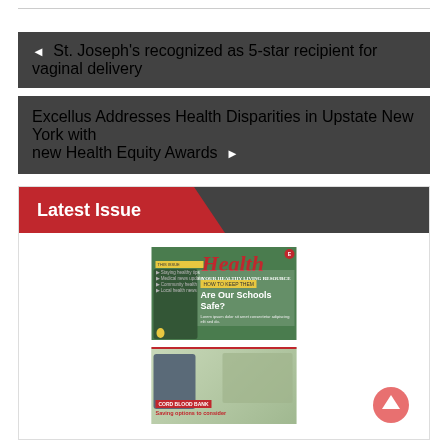◄ St. Joseph's recognized as 5-star recipient for vaginal delivery
Excellus Addresses Health Disparities in Upstate New York with new Health Equity Awards ►
Latest Issue
[Figure (illustration): Magazine cover: Health magazine with headline 'Are Our Schools Safe?' showing school supplies, apple, alarm clock on green chalkboard background]
[Figure (illustration): Second magazine issue thumbnail showing a person and couple outdoors with red cord blood bank label]